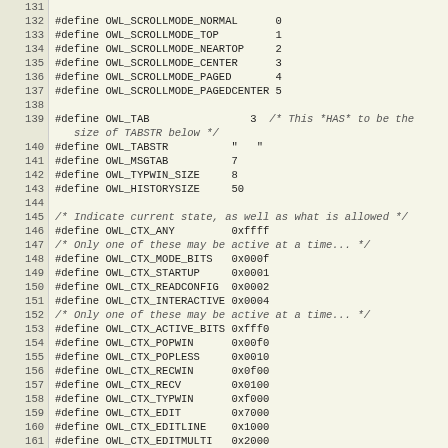| line | code |
| --- | --- |
| 131 |  |
| 132 | #define OWL_SCROLLMODE_NORMAL      0 |
| 133 | #define OWL_SCROLLMODE_TOP         1 |
| 134 | #define OWL_SCROLLMODE_NEARTOP     2 |
| 135 | #define OWL_SCROLLMODE_CENTER      3 |
| 136 | #define OWL_SCROLLMODE_PAGED       4 |
| 137 | #define OWL_SCROLLMODE_PAGEDCENTER 5 |
| 138 |  |
| 139 | #define OWL_TAB                3  /* This *HAS* to be the |
|  | size of TABSTR below */ |
| 140 | #define OWL_TABSTR          "   " |
| 141 | #define OWL_MSGTAB          7 |
| 142 | #define OWL_TYPWIN_SIZE     8 |
| 143 | #define OWL_HISTORYSIZE     50 |
| 144 |  |
| 145 | /* Indicate current state, as well as what is allowed */ |
| 146 | #define OWL_CTX_ANY         0xffff |
| 147 | /* Only one of these may be active at a time... */ |
| 148 | #define OWL_CTX_MODE_BITS   0x000f |
| 149 | #define OWL_CTX_STARTUP     0x0001 |
| 150 | #define OWL_CTX_READCONFIG  0x0002 |
| 151 | #define OWL_CTX_INTERACTIVE 0x0004 |
| 152 | /* Only one of these may be active at a time... */ |
| 153 | #define OWL_CTX_ACTIVE_BITS 0xfff0 |
| 154 | #define OWL_CTX_POPWIN      0x00f0 |
| 155 | #define OWL_CTX_POPLESS     0x0010 |
| 156 | #define OWL_CTX_RECWIN      0x0f00 |
| 157 | #define OWL_CTX_RECV        0x0100 |
| 158 | #define OWL_CTX_TYPWIN      0xf000 |
| 159 | #define OWL_CTX_EDIT        0x7000 |
| 160 | #define OWL_CTX_EDITLINE    0x1000 |
| 161 | #define OWL_CTX_EDITMULTI   0x2000 |